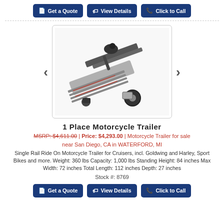[Figure (other): Three action buttons at top: Get a Quote, View Details, Click to Call on dark blue background]
[Figure (photo): 1 Place Motorcycle Trailer shown from above at an angle, a single-rail open trailer with ramp and wheel chock]
1 Place Motorcycle Trailer
MSRP: $4,611.00 | Price: $4,293.00 | Motorcycle Trailer for sale near San Diego, CA in WATERFORD, MI
Single Rail Ride On Motorcycle Trailer for Cruisers, incl. Goldwing and Harley, Sport Bikes and more. Weight: 360 lbs Capacity: 1,000 lbs Standing Height: 84 inches Max Width: 72 inches Total Length: 112 inches Depth: 27 inches
Stock #: 8769
[Figure (other): Three action buttons at bottom: Get a Quote, View Details, Click to Call on dark blue background]